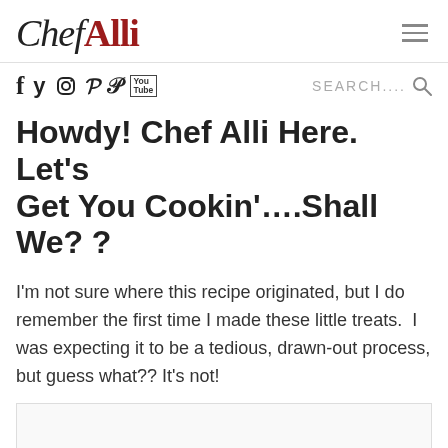ChefAlli
f  y  [instagram]  p  You [tube]    SEARCH....   [search icon]
Howdy! Chef Alli Here. Let's Get You Cookin'....Shall We? ?
I'm not sure where this recipe originated, but I do remember the first time I made these little treats.  I was expecting it to be a tedious, drawn-out process, but guess what?? It's not!
[Figure (photo): Image placeholder area at bottom of page]